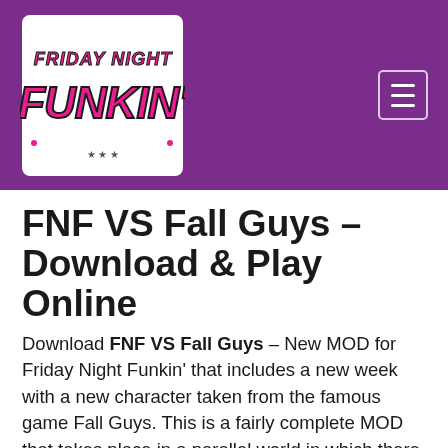[Figure (logo): Friday Night Funkin' logo in pink graffiti-style text on white background]
FNF VS Fall Guys – Download & Play Online
Download FNF VS Fall Guys – New MOD for Friday Night Funkin' that includes a new week with a new character taken from the famous game Fall Guys. This is a fairly complete MOD that takes place in a parallel world in which there is a talent contest between BF and Fall Guy. We will have the crewmates of Among Us as jury and GF as a regular spectator. This MOD features interface, sound effects and animations